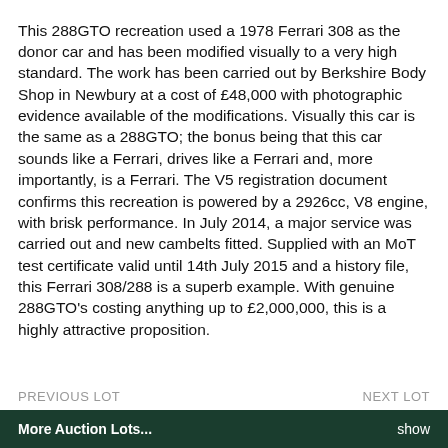This 288GTO recreation used a 1978 Ferrari 308 as the donor car and has been modified visually to a very high standard. The work has been carried out by Berkshire Body Shop in Newbury at a cost of £48,000 with photographic evidence available of the modifications. Visually this car is the same as a 288GTO; the bonus being that this car sounds like a Ferrari, drives like a Ferrari and, more importantly, is a Ferrari. The V5 registration document confirms this recreation is powered by a 2926cc, V8 engine, with brisk performance. In July 2014, a major service was carried out and new cambelts fitted. Supplied with an MoT test certificate valid until 14th July 2015 and a history file, this Ferrari 308/288 is a superb example. With genuine 288GTO's costing anything up to £2,000,000, this is a highly attractive proposition.
PREVIOUS LOT    NEXT LOT
More Auction Lots...    show